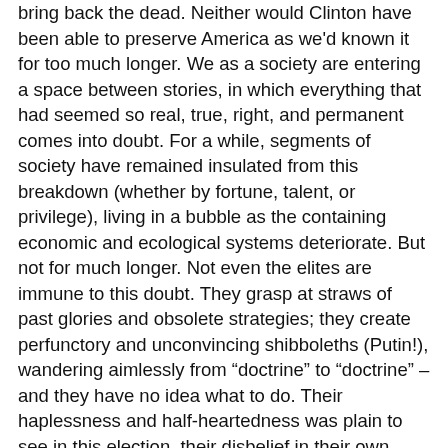Trump to restore it, but their either has not the power to bring back the dead. Neither would Clinton have been able to preserve America as we'd known it for too much longer. We as a society are entering a space between stories, in which everything that had seemed so real, true, right, and permanent comes into doubt. For a while, segments of society have remained insulated from this breakdown (whether by fortune, talent, or privilege), living in a bubble as the containing economic and ecological systems deteriorate. But not for much longer. Not even the elites are immune to this doubt. They grasp at straws of past glories and obsolete strategies; they create perfunctory and unconvincing shibboleths (Putin!), wandering aimlessly from “doctrine” to “doctrine” – and they have no idea what to do. Their haplessness and half-heartedness was plain to see in this election, their disbelief in their own propaganda, their cynicism. When even the custodians of the story no longer believe the story, you know its days are numbered. It is a shell with no engine, running on habit and momentum.